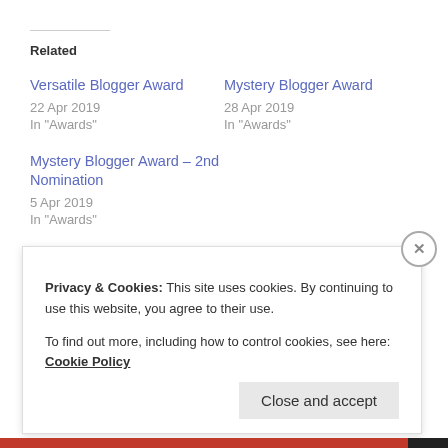Related
Versatile Blogger Award
22 Apr 2019
In "Awards"
Mystery Blogger Award
28 Apr 2019
In "Awards"
Mystery Blogger Award – 2nd Nomination
5 Apr 2019
In "Awards"
Privacy & Cookies: This site uses cookies. By continuing to use this website, you agree to their use.
To find out more, including how to control cookies, see here: Cookie Policy
Close and accept